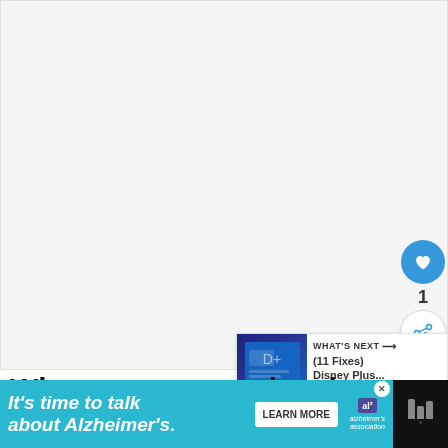[Figure (photo): Large white/light gray empty image area, approximately 370px tall, spanning the top of the page]
[Figure (infographic): Social interaction buttons: heart/like button (blue circle with heart icon), count '1', share button (circle with share icon), and more options dots]
[Figure (infographic): What's Next recommendation card showing: 'WHAT'S NEXT →' label, '(11 Fixes) Disney Plus...' title, with a thumbnail image]
When a wave crashes into a Blue device, it splits in half.
[Figure (infographic): Advertisement banner: teal background with text 'It's time to talk about Alzheimer's.' with a Learn More button and Alzheimer's Association logo]